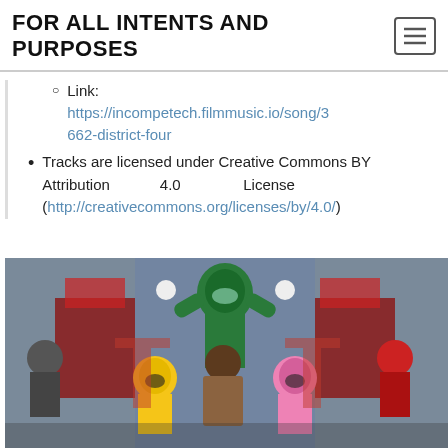FOR ALL INTENTS AND PURPOSES
Link: https://incompetech.filmmusic.io/song/3662-district-four
Tracks are licensed under Creative Commons BY Attribution 4.0 License (http://creativecommons.org/licenses/by/4.0/)
[Figure (photo): Photo of Power Rangers characters (green, yellow, pink rangers) surrounding a man in a brown jacket, with stylized graphic background elements]